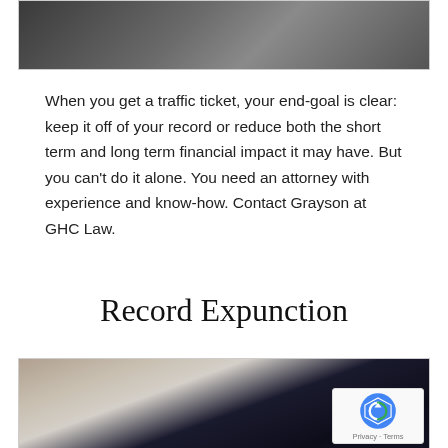[Figure (photo): Partial photo at top of page showing a person, likely cropped from a traffic/legal context]
When you get a traffic ticket, your end-goal is clear: keep it off of your record or reduce both the short term and long term financial impact it may have. But you can't do it alone. You need an attorney with experience and know-how. Contact Grayson at GHC Law.
Record Expunction
[Figure (photo): Photo of a person in dark clothing signing or reviewing documents with a pen]